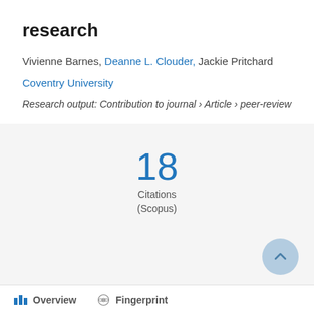research
Vivienne Barnes, Deanne L. Clouder, Jackie Pritchard
Coventry University
Research output: Contribution to journal › Article › peer-review
18
Citations
(Scopus)
Overview   Fingerprint